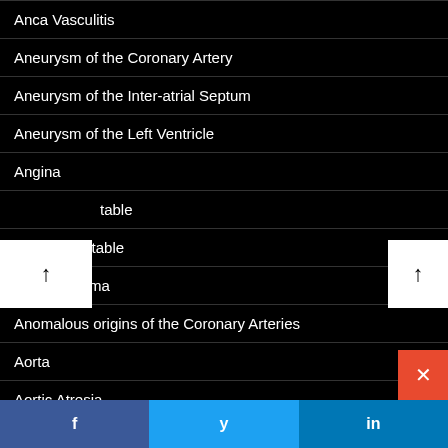Anca Vasculitis
Aneurysm of the Coronary Artery
Aneurysm of the Inter-atrial Septum
Aneurysm of the Left Ventricle
Angina
table
Angina Unstable
Angiosarcoma
Anomalous origins of the Coronary Arteries
Aorta
Aortic Atresia
f  y  in